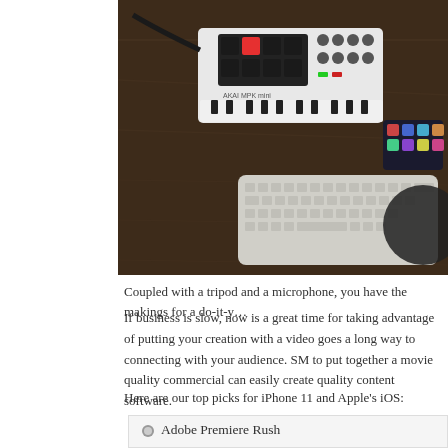[Figure (photo): Overhead shot of a wooden desk with an AKAI MPK mini MIDI keyboard controller, an Apple keyboard, a smartphone, and audio/music equipment on a dark wood surface.]
Coupled with a tripod and a microphone, you have the makings for a do-it-y…
If business is slow, now is a great time for taking advantage of putting your creation with a video goes a long way to connecting with your audience. SM to put together a movie quality commercial can easily create quality content software.
Here are our top picks for iPhone 11 and Apple's iOS:
Adobe Premiere Rush